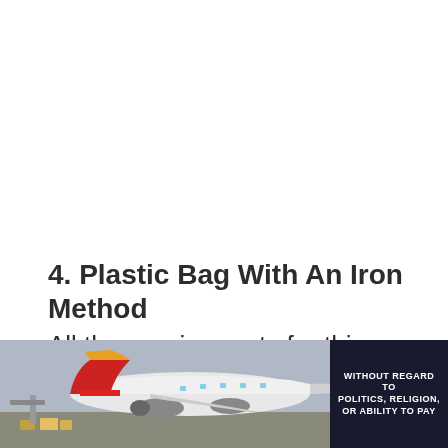4. Plastic Bag With An Iron Method
All the requirements for this method can be found at your home. It is also an easy and cost-effective way to remove
[Figure (photo): Advertisement banner showing a cargo airplane being loaded, with a red and yellow tail livery, and a dark box on the right with text 'WITHOUT REGARD TO POLITICS, RELIGION, OR ABILITY TO PAY']